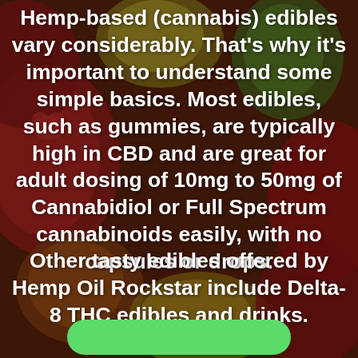[Figure (photo): Background photo of colorful gummy bear candies in red, yellow, and green hues with a dark reddish-brown tint overlay]
Hemp-based (cannabis) edibles vary considerably. That's why it's important to understand some simple basics. Most edibles, such as gummies, are typically high in CBD and are great for adult dosing of 10mg to 50mg of Cannabidiol or Full Spectrum cannabinoids easily, with no capsules or drops.
Other tasty edibles offered by Hemp Oil Rockstar include Delta-8 THC edibles and drinks.